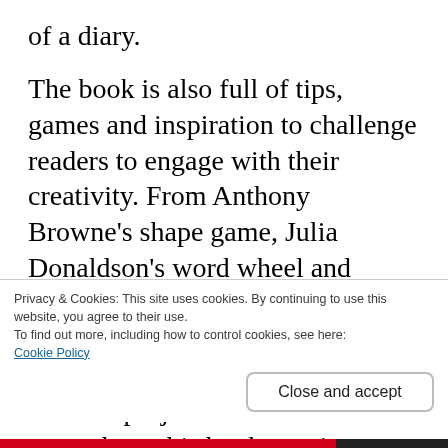of a diary.
The book is also full of tips, games and inspiration to challenge readers to engage with their creativity. From Anthony Browne's shape game, Julia Donaldson's word wheel and Malorie Blackman's ideas about taking a word for a walk, there are plenty of starting points to new creative projects. What I loved most about this book was its emphasis on the similarities between creativity and play. We hear big words like imagination and gifted and creative and think
Privacy & Cookies: This site uses cookies. By continuing to use this website, you agree to their use.
To find out more, including how to control cookies, see here:
Cookie Policy
Close and accept